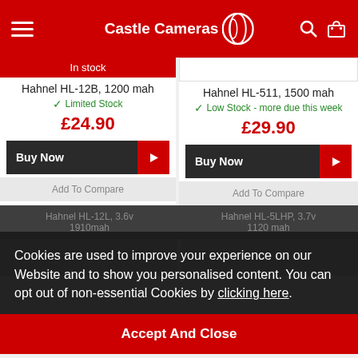[Figure (screenshot): Castle Cameras website header with red background, hamburger menu icon, Castle Cameras logo with circular icon, search and cart icons]
In stock
Hahnel HL-12B, 1200 mah
✓ Limited Stock
£24.90
Buy Now
Add To Compare
Hahnel HL-511, 1500 mah
✓ Low Stock - more due this week
£29.90
Buy Now
Add To Compare
Cookies are used to improve your experience on our Website and to show you personalised content. You can opt out of non-essential Cookies by clicking here.
Accept And Close
Hahnel HL-12L, 3.6v 1910mah
Hahnel HL-5LHP, 3.7v 1120 mah